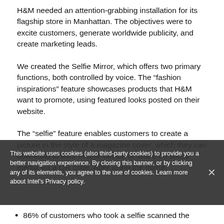H&M needed an attention-grabbing installation for its flagship store in Manhattan. The objectives were to excite customers, generate worldwide publicity, and create marketing leads.
We created the Selfie Mirror, which offers two primary functions, both controlled by voice. The “fashion inspirations” feature showcases products that H&M want to promote, using featured looks posted on their website.
The “selfie” feature enables customers to create a picture in the style of a magazine cover, which they can download to their mobile device or share on social media via a QR code. After using the mirror,
This website uses cookies (also third-party cookies) to provide you a better navigation experience. By closing this banner, or by clicking any of its elements, you agree to the use of cookies. Learn more about Intel’s Privacy policy.
86% of customers who took a selfie scanned the